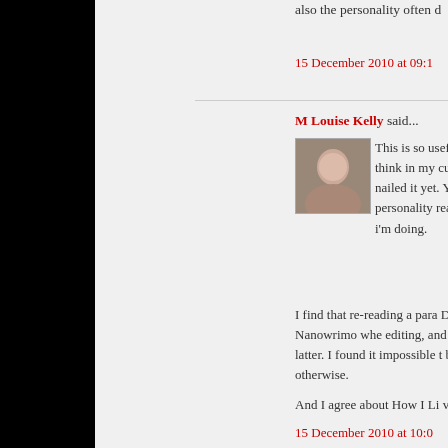also the personality often d
15 December 2010 at 09:1
M Louise Kelly said...
This is so useful. Thanks. I think in my current WiP I've not nailed it yet. Your p your MC's personality really refine what i'm doing.
I find that re-reading a para During the Nanowrimo whe editing, and not to read ove latter. I found it impossible t been reading otherwise.
And I agree about How I Li voices.
15 December 2010 at 10:0
Dawn Kurtagich said...
My best writing usually occ like snarky characters, but